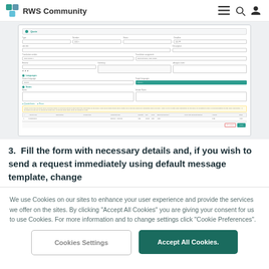RWS Community
[Figure (screenshot): Screenshot of a web form UI with sections for project information, language pairs, translation settings, notes, and a summary table with action buttons.]
3.  Fill the form with necessary details and, if you wish to send a request immediately using default message template, change
We use Cookies on our sites to enhance your user experience and provide the services we offer on the sites. By clicking “Accept All Cookies” you are giving your consent for us to use Cookies. For more information and to change settings click “Cookie Preferences”.
Cookies Settings
Accept All Cookies.